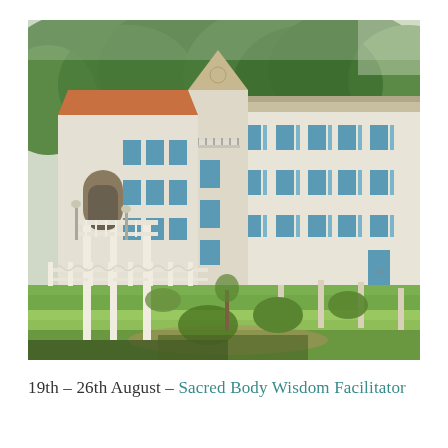[Figure (photo): Exterior photograph of a large white building with blue shutters, multiple stories, set against a forested hillside. The foreground shows a green lawn, a white pergola/gate structure, and white fence posts. The building appears to be a retreat or residential facility in a European alpine setting.]
19th – 26th August – Sacred Body Wisdom Facilitator